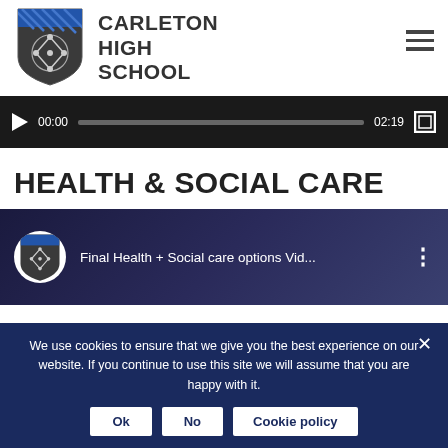[Figure (logo): Carleton High School logo: shield with diamond/cross pattern and diagonal blue stripe at top]
CARLETON HIGH SCHOOL
[Figure (screenshot): Video player bar with play button, timestamp 00:00, progress bar, duration 02:19, and fullscreen button on dark background]
HEALTH & SOCIAL CARE
[Figure (screenshot): YouTube embed header showing Carleton High School logo avatar and title 'Final Health + Social care options Vid...' on dark blue/purple gradient background]
We use cookies to ensure that we give you the best experience on our website. If you continue to use this site we will assume that you are happy with it.
Ok   No   Cookie policy